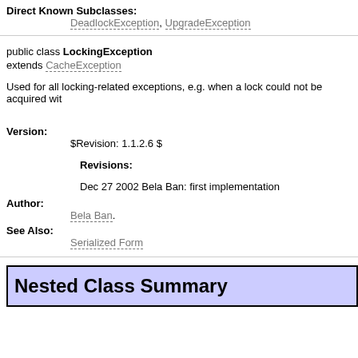Direct Known Subclasses: DeadlockException, UpgradeException
public class LockingException extends CacheException
Used for all locking-related exceptions, e.g. when a lock could not be acquired wit
Version: $Revision: 1.1.2.6 $
Revisions:
Dec 27 2002 Bela Ban: first implementation
Author: Bela Ban.
See Also: Serialized Form
Nested Class Summary